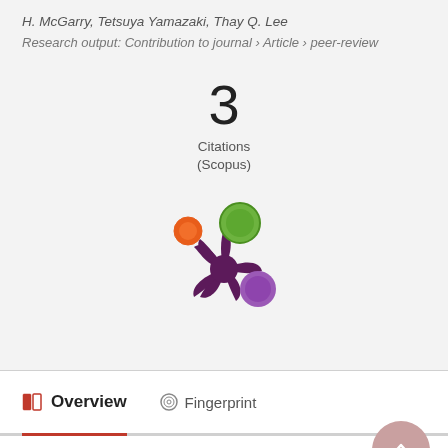H. McGarry, Tetsuya Yamazaki, Thay Q. Lee
Research output: Contribution to journal › Article › peer-review
3
Citations
(Scopus)
[Figure (logo): Altmetric / research metrics logo with colored circles (orange, green, purple) and dark purple splat shape]
Overview
Fingerprint
Abstract